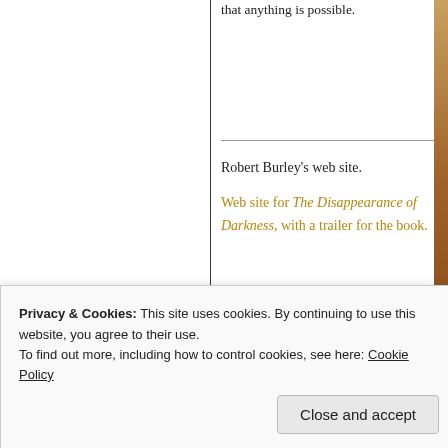that anything is possible.
Robert Burley's web site.
Web site for The Disappearance of Darkness, with a trailer for the book.
Privacy & Cookies: This site uses cookies. By continuing to use this website, you agree to their use.
To find out more, including how to control cookies, see here: Cookie Policy
Close and accept